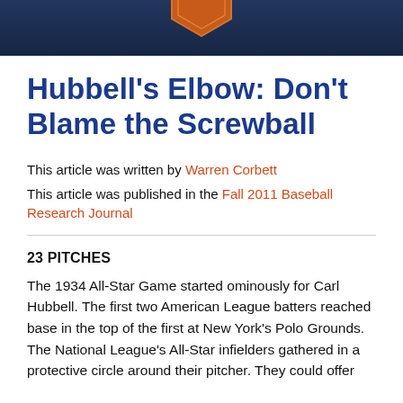[Figure (illustration): Dark navy blue header banner with a partial orange hexagon logo/badge at the top center]
Hubbell's Elbow: Don't Blame the Screwball
This article was written by Warren Corbett
This article was published in the Fall 2011 Baseball Research Journal
23 PITCHES
The 1934 All-Star Game started ominously for Carl Hubbell. The first two American League batters reached base in the top of the first at New York's Polo Grounds. The National League's All-Star infielders gathered in a protective circle around their pitcher. They could offer